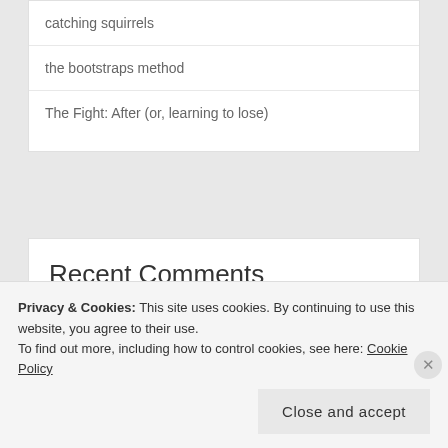catching squirrels
the bootstraps method
The Fight: After (or, learning to lose)
Recent Comments
david on the bootstraps method
Privacy & Cookies: This site uses cookies. By continuing to use this website, you agree to their use.
To find out more, including how to control cookies, see here: Cookie Policy
Close and accept